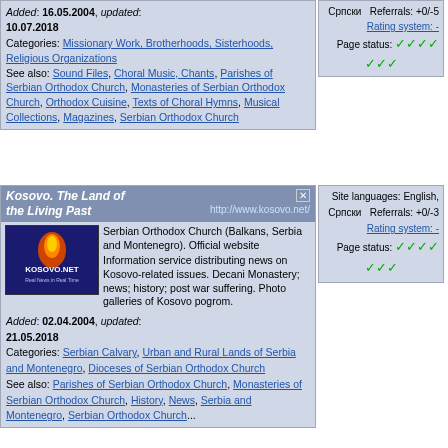Added: 16.05.2004, updated: 10.07.2018
Categories: Missionary Work, Brotherhoods, Sisterhoods, Religious Organizations
See also: Sound Files, Choral Music, Chants, Parishes of Serbian Orthodox Church, Monasteries of Serbian Orthodox Church, Orthodox Cuisine, Texts of Choral Hymns, Musical Collections, Magazines, Serbian Orthodox Church
Српски  Referrals: +0/-5
Rating system: -
Page status: ✓✓✓✓✓✓✓
Kosovo. The Land of the Living Past
http://www.kosovo.net/
[Figure (logo): Kosovo.net logo - dark blue background with flame icon and text 'KOSOVO.NET Real News in Real Time']
Serbian Orthodox Church (Balkans, Serbia and Montenegro). Official website
Information service distributing news on Kosovo-related issues. Decani Monastery; news; history; post war suffering. Photo galleries of Kosovo pogrom.
Site languages: English, Српски  Referrals: +0/-3
Rating system: -
Page status: ✓✓✓✓✓✓✓
Added: 02.04.2004, updated: 21.05.2018
Categories: Serbian Calvary, Urban and Rural Lands of Serbia and Montenegro, Dioceses of Serbian Orthodox Church
See also: Parishes of Serbian Orthodox Church, Monasteries of Serbian Orthodox Church, History, News, Serbia and Montenegro, Serbian Orthodox Church...